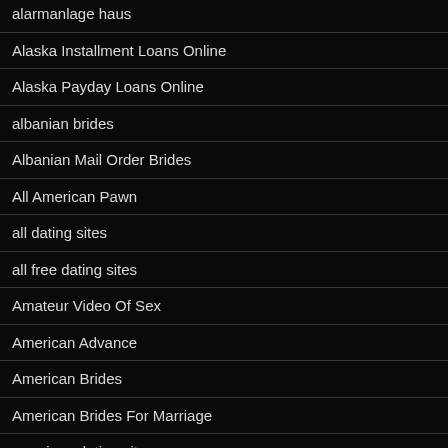alarmanlage haus
Alaska Installment Loans Online
Alaska Payday Loans Online
albanian brides
Albanian Mail Order Brides
All American Pawn
all dating sites
all free dating sites
Amateur Video Of Sex
American Advance
American Brides
American Brides For Marriage
american dating sites